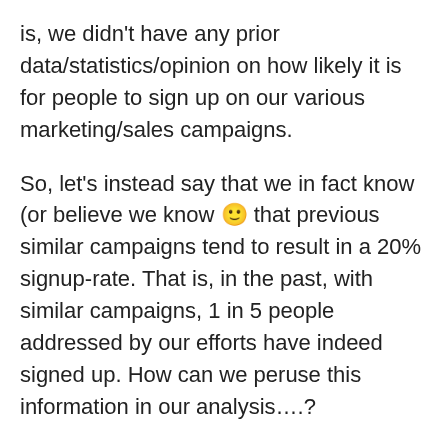is, we didn't have any prior data/statistics/opinion on how likely it is for people to sign up on our various marketing/sales campaigns.
So, let's instead say that we in fact know (or believe we know 🙂 that previous similar campaigns tend to result in a 20% signup-rate. That is, in the past, with similar campaigns, 1 in 5 people addressed by our efforts have indeed signed up. How can we peruse this information in our analysis….?
In Bayesian Inference, we can instead of using an uninformed prior (as we did above) give our inference engine an informative prior, in our case here, the knowledge that in the past, 1 in 5 people have signed up.
Running the same model again, this time with an